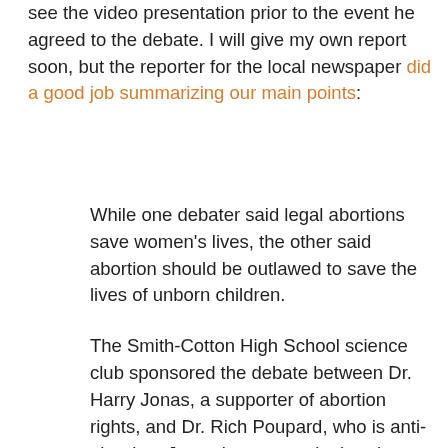see the video presentation prior to the event he agreed to the debate. I will give my own report soon, but the reporter for the local newspaper did a good job summarizing our main points:
While one debater said legal abortions save women's lives, the other said abortion should be outlawed to save the lives of unborn children.
The Smith-Cotton High School science club sponsored the debate between Dr. Harry Jonas, a supporter of abortion rights, and Dr. Rich Poupard, who is anti-abortion. Jonas is a gynecologist who previously served as president of the American College of Obstetricians and Gynecologists. Poupard is a board-certified oral and maxillofacial surgeon who is studying for a master’s degree in Christian apologetics and bioethics.
Jonas said the leading cause of death for women